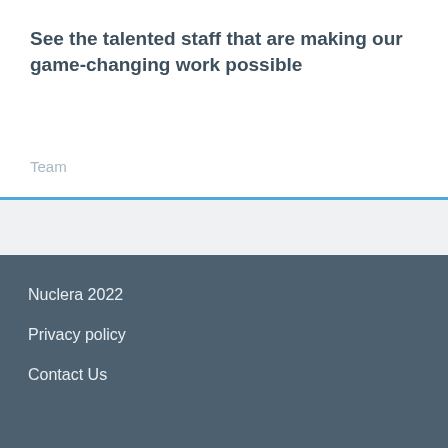See the talented staff that are making our game-changing work possible
Team
Nuclera 2022
Privacy policy
Contact Us